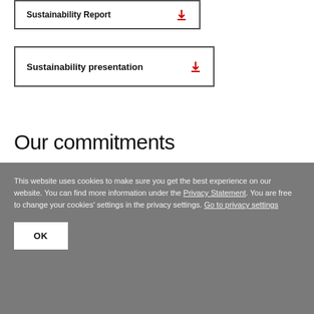Sustainability Report [download icon]
Sustainability presentation [download icon]
Our commitments
This website uses cookies to make sure you get the best experience on our website. You can find more information under the Privacy Statement. You are free to change your cookies' settings in the privacy settings. Go to privacy settings
OK